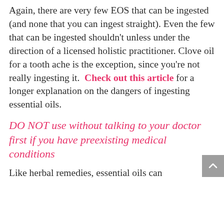Again, there are very few EOS that can be ingested (and none that you can ingest straight). Even the few that can be ingested shouldn't unless under the direction of a licensed holistic practitioner. Clove oil for a tooth ache is the exception, since you're not really ingesting it.  Check out this article for a longer explanation on the dangers of ingesting essential oils.
DO NOT use without talking to your doctor first if you have preexisting medical conditions
Like herbal remedies, essential oils can